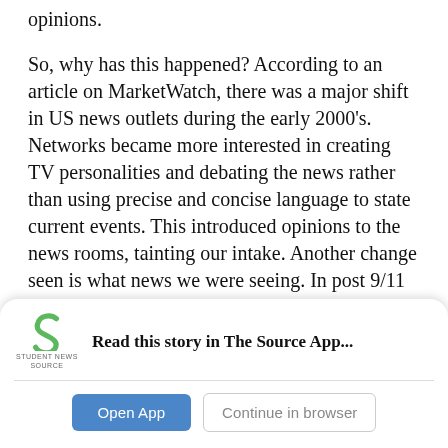opinions.
So, why has this happened? According to an article on MarketWatch, there was a major shift in US news outlets during the early 2000's. Networks became more interested in creating TV personalities and debating the news rather than using precise and concise language to state current events. This introduced opinions to the news rooms, tainting our intake. Another change seen is what news we were seeing. In post 9/11 USA, we watched horrible and uncensored content in our daily news updates, such as dire warnings about climate change and, recently,
[Figure (logo): Student News Source app logo — green stylized 'S' icon with 'STUDENT NEWS SOURCE' text below]
Read this story in The Source App...
Open App
Continue in browser